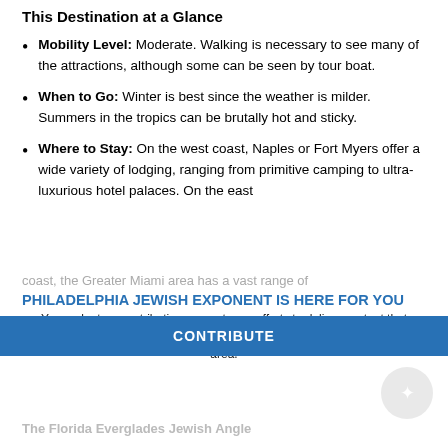This Destination at a Glance
Mobility Level: Moderate. Walking is necessary to see many of the attractions, although some can be seen by tour boat.
When to Go: Winter is best since the weather is milder. Summers in the tropics can be brutally hot and sticky.
Where to Stay: On the west coast, Naples or Fort Myers offer a wide variety of lodging, ranging from primitive camping to ultra-luxurious hotel palaces. On the east coast, the Greater Miami area has a vast range of
PHILADELPHIA JEWISH EXPONENT IS HERE FOR YOU
Your voluntary contribution supports our efforts to deliver content that engages and helps strengthen the Jewish community in the Philadelphia area.
Special Travel Interests: Sub-tropical flora and fauna,
CONTRIBUTE
The Florida Everglades Jewish Angle